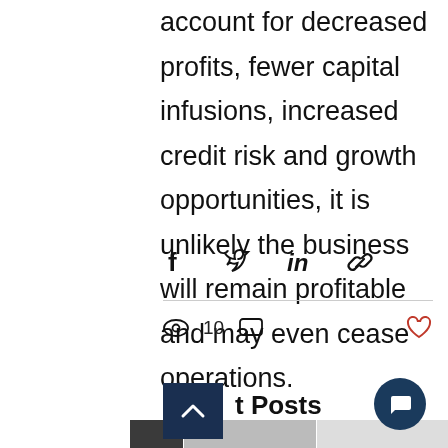account for decreased profits, fewer capital infusions, increased credit risk and growth opportunities, it is unlikely the business will remain profitable and may even cease operations.
[Figure (other): Social share icons row: Facebook, Twitter, LinkedIn, Link]
[Figure (other): Post stats bar: 10 views icon, comment icon, heart/like icon]
Recent Posts
[Figure (photo): Photo strip showing recent post thumbnail images at bottom of page]